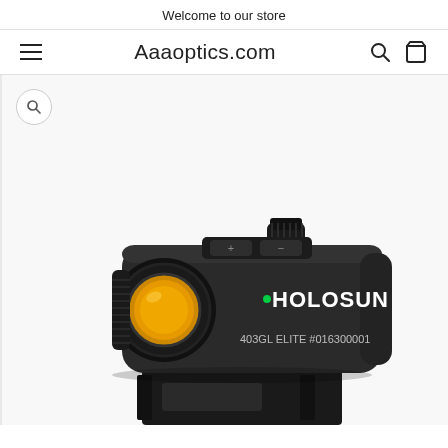Welcome to our store
Aaaoptics.com
[Figure (photo): Close-up product photo of a Holosun 403GL Elite red dot sight with serial number #016300001, shown in matte black finish with amber-tinted objective lens, mounted on a riser mount. The optic body shows control buttons on top and the Holosun logo in white text.]